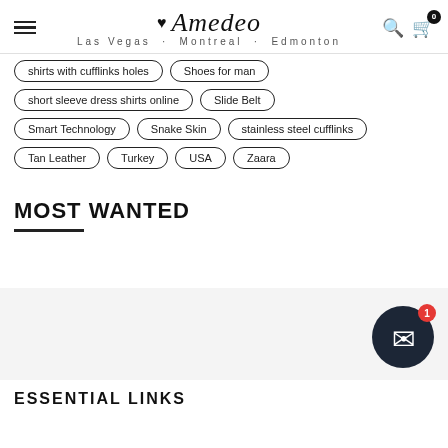Amedeo — Las Vegas · Montreal · Edmonton
shirts with cufflinks holes
Shoes for man
short sleeve dress shirts online
Slide Belt
Smart Technology
Snake Skin
stainless steel cufflinks
Tan Leather
Turkey
USA
Zaara
MOST WANTED
ESSENTIAL LINKS